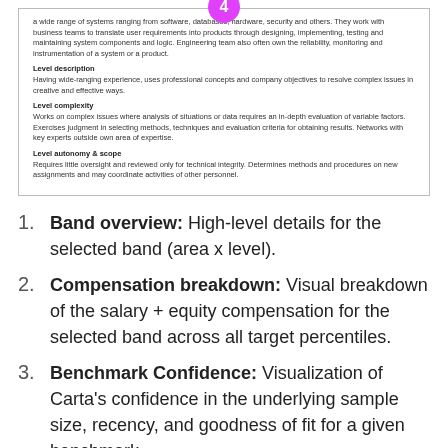[Figure (screenshot): A boxed card with a pink/magenta circle badge labeled '4' at the top center. Contains text blocks with bold headers: Level description, Level complexity, Level autonomy & scope, along with body text for each.]
Band overview: High-level details for the selected band (area x level).
Compensation breakdown: Visual breakdown of the salary + equity compensation for the selected band across all target percentiles.
Benchmark Confidence: Visualization of Carta's confidence in the underlying sample size, recency, and goodness of fit for a given benchmark.